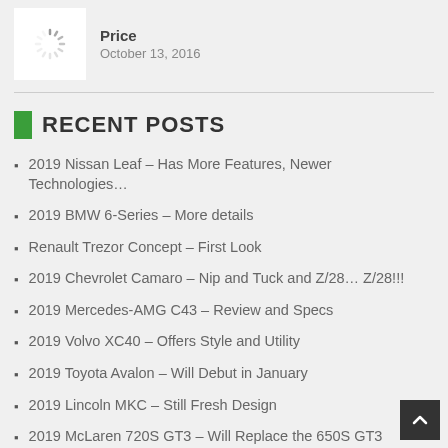[Figure (illustration): Loading spinner icon in a white thumbnail box]
Price
October 13, 2016
RECENT POSTS
2019 Nissan Leaf – Has More Features, Newer Technologies…
2019 BMW 6-Series – More details
Renault Trezor Concept – First Look
2019 Chevrolet Camaro – Nip and Tuck and Z/28… Z/28!!!
2019 Mercedes-AMG C43 – Review and Specs
2019 Volvo XC40 – Offers Style and Utility
2019 Toyota Avalon – Will Debut in January
2019 Lincoln MKC – Still Fresh Design
2019 McLaren 720S GT3 – Will Replace the 650S GT3